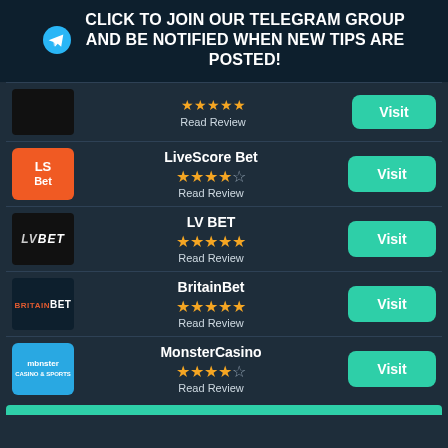✈ CLICK TO JOIN OUR TELEGRAM GROUP AND BE NOTIFIED WHEN NEW TIPS ARE POSTED!
Read Review
LiveScore Bet ★★★★☆ Read Review Visit
LV BET ★★★★★ Read Review Visit
BritainBet ★★★★★ Read Review Visit
MonsterCasino ★★★★☆ Read Review Visit